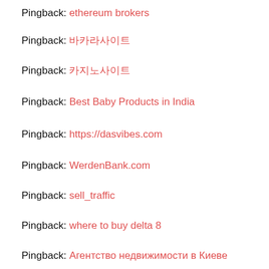Pingback: ethereum brokers
Pingback: 바카라사이트
Pingback: 카지노사이트
Pingback: Best Baby Products in India
Pingback: https://dasvibes.com
Pingback: WerdenBank.com
Pingback: sell_traffic
Pingback: where to buy delta 8
Pingback: Агентство недвижимости в Киеве